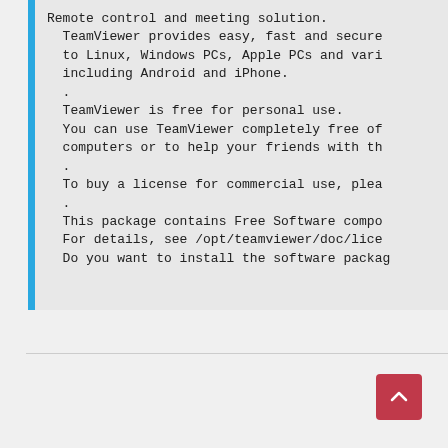Remote control and meeting solution.
  TeamViewer provides easy, fast and secure
  to Linux, Windows PCs, Apple PCs and vari
  including Android and iPhone.
  .
  TeamViewer is free for personal use.
  You can use TeamViewer completely free of
  computers or to help your friends with th
  .
  To buy a license for commercial use, plea
  .
  This package contains Free Software compo
  For details, see /opt/teamviewer/doc/lice
  Do you want to install the software packag